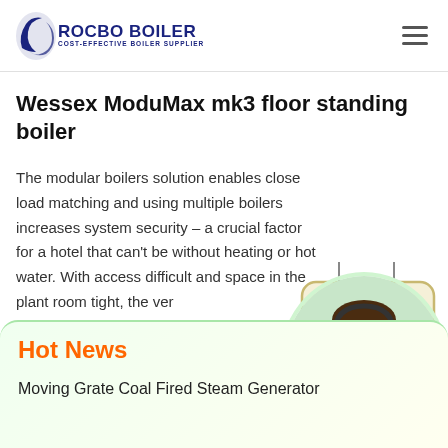[Figure (logo): Rocbo Boiler logo with crescent moon icon and text 'ROCBO BOILER — COST-EFFECTIVE BOILER SUPPLIER']
Wessex ModuMax mk3 floor standing boiler
The modular boilers solution enables close load matching and using multiple boilers increases system security – a crucial factor for a hotel that can't be without heating or hot water. With access difficult and space in the plant room tight, the ver…
[Figure (infographic): 10% DISCOUNT sign hanging badge in red and blue on cream background]
[Figure (photo): Customer service representative woman with headset, smiling, circular crop]
Hot News
Moving Grate Coal Fired Steam Generator